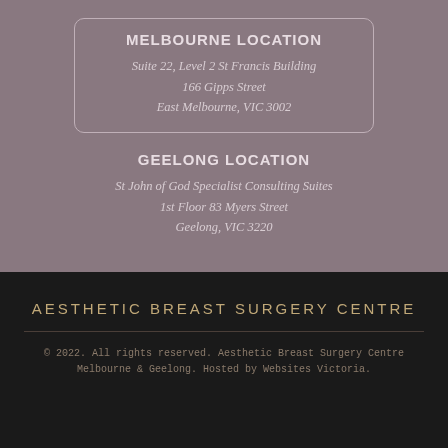MELBOURNE LOCATION
Suite 22, Level 2 St Francis Building
166 Gipps Street
East Melbourne, VIC 3002
GEELONG LOCATION
St John of God Specialist Consulting Suites
1st Floor 83 Myers Street
Geelong, VIC 3220
AESTHETIC BREAST SURGERY CENTRE
© 2022. All rights reserved. Aesthetic Breast Surgery Centre Melbourne & Geelong. Hosted by Websites Victoria.